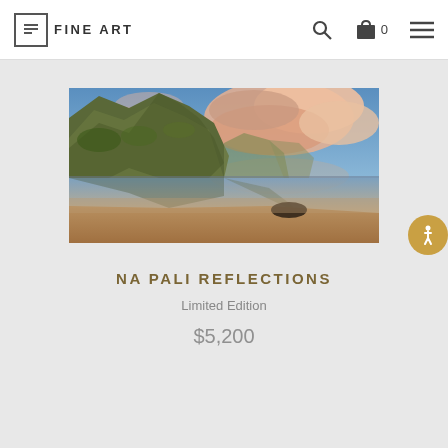FINE ART
[Figure (photo): Panoramic landscape photograph of Na Pali coast in Hawaii, showing dramatic green cliffs reflecting in calm shallow water on a sandy beach, with dramatic pink and orange clouds in a blue sky at sunset.]
NA PALI REFLECTIONS
Limited Edition
$5,200